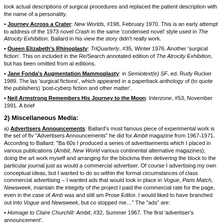took actual descriptions of surgical procedures and replaced the patient description with the name of a personality.
Journey Across a Crater: New Worlds, #198, February 1970. This is an early attempt to address of the 1973 novel Crash in the same 'condensed novel' style used in The Atrocity Exhibition. Ballard in his view the story didn't really work.
Queen Elizabeth's Rhinoplasty: TriQuarterly, #35, Winter 1976. Another 'surgical fiction'. This on included in the Re/Search annotated edition of The Atrocity Exhibition, but has been omitted from al editions.
Jane Fonda's Augmentation Mammoplasty: in Semiotext(e) SF, ed. Rudy Rucker 1989. The las 'surgical fictions', which appeared in a paperback anthology of (to quote the publishers) 'post-cyberp fiction and other matter'.
Neil Armstrong Remembers His Journey to the Moon: Interzone, #53, November 1991. A brief
2) Miscellaneous Media:
a) Advertisers Announcements: Ballard's most famous piece of experimental work is the set of fiv "Advertisers Announcements" he did for Ambit magazine from 1967-1971. According to Ballard: "Ba 60s I produced a series of advertisements which I placed in various publications (Ambit, New World various continental alternative magazines), doing the art work myself and arranging for the blockma then delivering the block to the particular journal just as would a commercial advertiser. Of course I advertising my own conceptual ideas, but I wanted to do so within the formal circumstances of class commercial advertising – I wanted ads that would look in place in Vogue, Paris Match, Newsweek, maintain the integrity of the project I paid the commercial rate for the page, even in the case of Amb was and still am Prose Editor. I would liked to have branched out into Vogue and Newsweek, but co stopped me…" The "ads" are:
Homage to Claire Churchill: Ambit, #32, Summer 1967. The first 'advertiser's announcement'.
Does the Angle between Two Walls have a Happy Ending?: Ambit, #33, Autumn 1967.
A Neural Interval: Ambit, #36, Summer 1968.
Placental Insufficiency: Ambit, #45, Autumn 1970.
Venus Smiles: Ambit, #46, Winter 1970/1971. The fifth and final 'advertiser's announcement'.